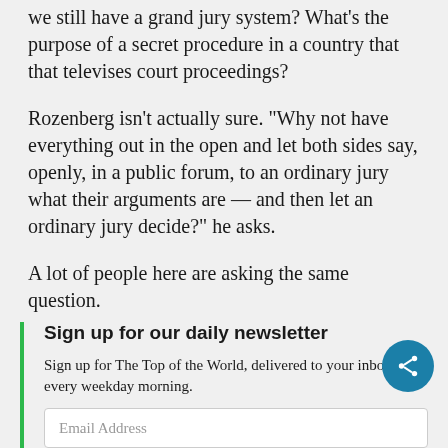we still have a grand jury system? What's the purpose of a secret procedure in a country that that televises court proceedings?
Rozenberg isn't actually sure. "Why not have everything out in the open and let both sides say, openly, in a public forum, to an ordinary jury what their arguments are — and then let an ordinary jury decide?" he asks.
A lot of people here are asking the same question.
Sign up for our daily newsletter
Sign up for The Top of the World, delivered to your inbox every weekday morning.
Email Address